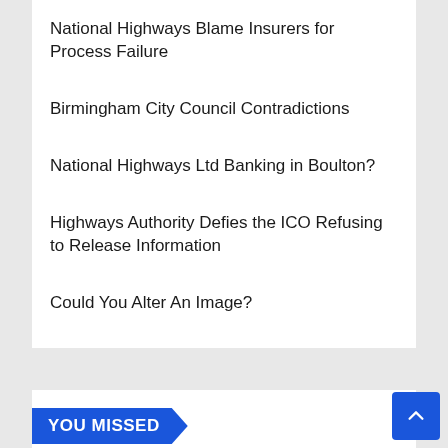National Highways Blame Insurers for Process Failure
Birmingham City Council Contradictions
National Highways Ltd Banking in Boulton?
Highways Authority Defies the ICO Refusing to Release Information
Could You Alter An Image?
YOU MISSED